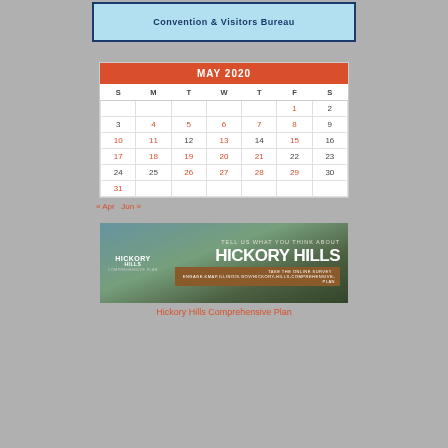[Figure (logo): Convention & Visitors Bureau banner logo with blue background and bold text]
| S | M | T | W | T | F | S |
| --- | --- | --- | --- | --- | --- | --- |
|  |  |  |  |  | 1 | 2 |
| 3 | 4 | 5 | 6 | 7 | 8 | 9 |
| 10 | 11 | 12 | 13 | 14 | 15 | 16 |
| 17 | 18 | 19 | 20 | 21 | 22 | 23 |
| 24 | 25 | 26 | 27 | 28 | 29 | 30 |
| 31 |  |  |  |  |  |  |
« Apr   Jun »
[Figure (photo): Aerial photo of Hickory Hills with text overlay: TELL US WHAT YOU THINK ABOUT HICKORY HILLS — Hickory Hills Comprehensive Plan survey]
Hickory Hills Comprehensive Plan